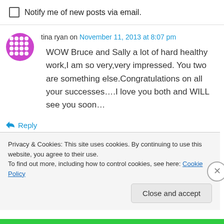Notify me of new posts via email.
tina ryan on November 11, 2013 at 8:07 pm
WOW Bruce and Sally a lot of hard healthy work,I am so very,very impressed. You two are something else.Congratulations on all your successes….I love you both and WILL see you soon…
Reply
Privacy & Cookies: This site uses cookies. By continuing to use this website, you agree to their use.
To find out more, including how to control cookies, see here: Cookie Policy